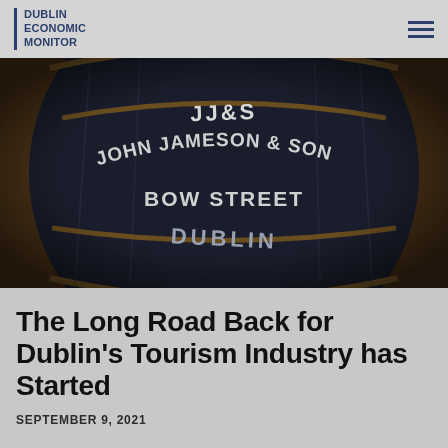DUBLIN ECONOMIC MONITOR
[Figure (photo): Close-up photograph of a large dark wooden whiskey barrel with stencilled white text reading: JJ&S / JOHN JAMESON & SON / BOW STREET / DUBLIN]
The Long Road Back for Dublin’s Tourism Industry has Started
SEPTEMBER 9, 2021